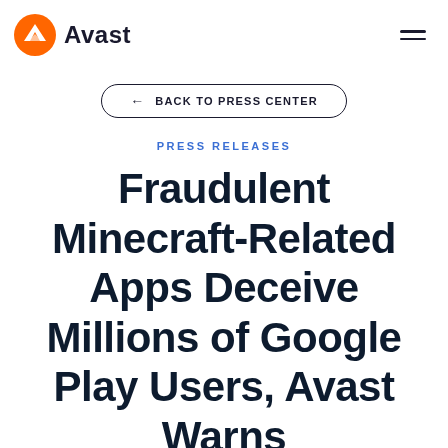Avast
BACK TO PRESS CENTER
PRESS RELEASES
Fraudulent Minecraft-Related Apps Deceive Millions of Google Play Users, Avast Warns